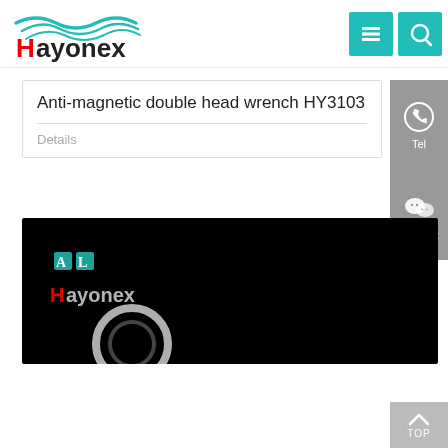Hayonex logo and navigation header
Anti-magnetic double head wrench HY3103
Details
[Figure (photo): Product photo on black background showing a wrench/ring shape with the Hayonex logo visible]
[Figure (other): Tel sidebar icon with telephone symbol]
[Figure (other): WeChat sidebar icon with WeChat logo]
[Figure (other): Back to TOP button at bottom right]